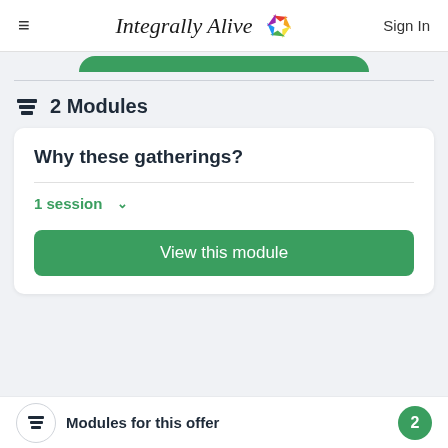Integrally Alive — Sign In
2 Modules
Why these gatherings?
1 session
View this module
Modules for this offer